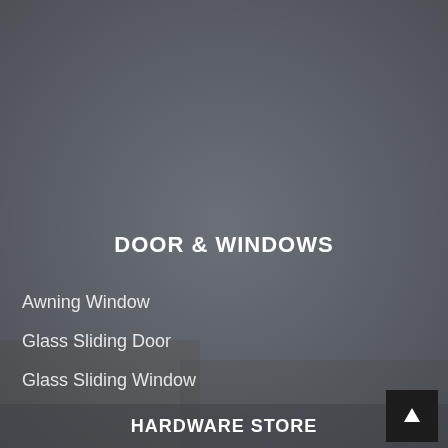[Figure (photo): Background photo of a hardware store setting with muted gray overlay, showing some tools/objects in the lower portion of the image.]
DOOR & WINDOWS
Awning Window
Glass Sliding Door
Glass Sliding Window
HARDWARE STORE